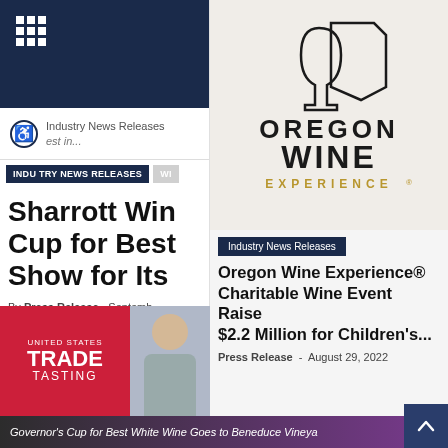[Figure (screenshot): Navigation bar with grid icon on dark navy background]
Industry News Releases
est in...
INDUSTRY NEWS RELEASES  WI
Sharrott Win Cup for Best Show for Its
By Press Release - Septemb
[Figure (logo): Oregon Wine Experience logo with wine glass and state outline, text: OREGON WINE EXPERIENCE®]
Industry News Releases
Oregon Wine Experience® Charitable Wine Event Raises $2.2 Million for Children's...
Press Release - August 29, 2022
[Figure (logo): United States Trade Tasting logo on red background with person photo]
Governor's Cup for Best White Wine Goes to Beneduce Vineya